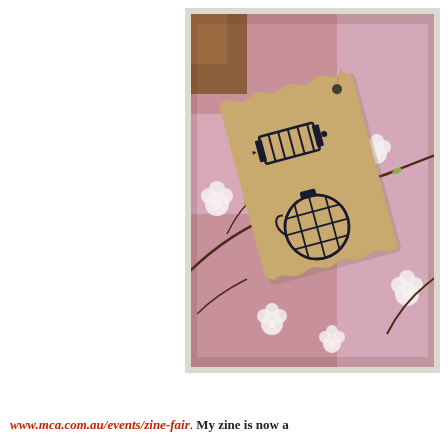[Figure (photo): Instagram-style photograph showing a kraft paper gift tag with rubber stamp illustrations (an accordion/concertina and a round lantern/bomb shape) lying on pink floral fabric with cherry blossom pattern. The photo has warm vintage tones.]
www.mca.com.au/events/zine-fair. My zine is now a